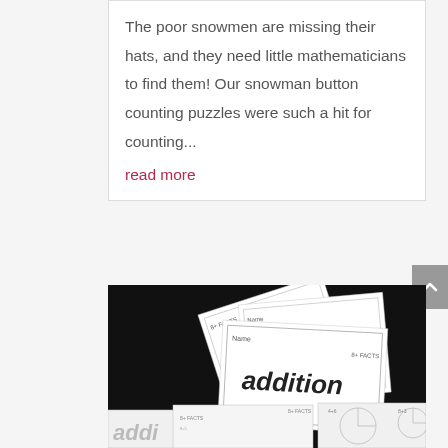The poor snowmen are missing their hats, and they need little mathematicians to find them! Our snowman button counting puzzles were such a hit for counting...
read more
[Figure (photo): Photo of addition worksheets/booklets fanned out against a black background, showing the word 'addition' prominently on the front worksheet with '8+ FACTS' labels visible.]